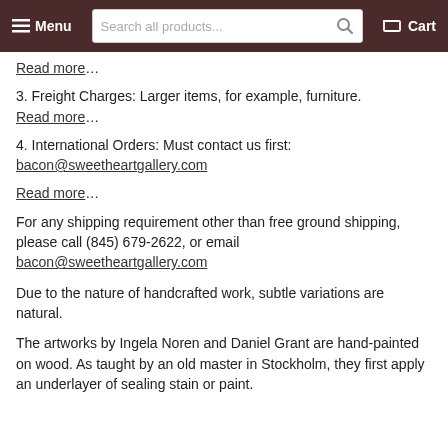Menu | Search all products... | Cart
Read more…
3. Freight Charges: Larger items, for example, furniture.
Read more…
4. International Orders: Must contact us first:
bacon@sweetheartgallery.com
Read more…
For any shipping requirement other than free ground shipping, please call (845) 679-2622, or email bacon@sweetheartgallery.com
Due to the nature of handcrafted work, subtle variations are natural.
The artworks by Ingela Noren and Daniel Grant are hand-painted on wood. As taught by an old master in Stockholm, they first apply an underlayer of sealing stain or paint.